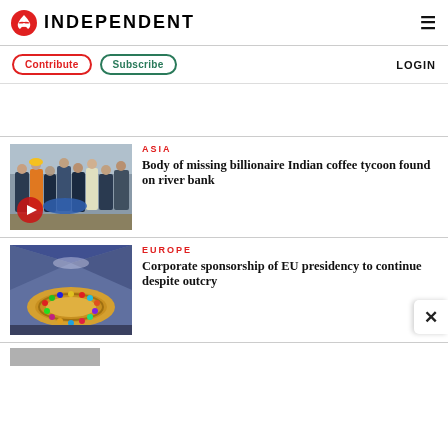INDEPENDENT
Contribute   Subscribe   LOGIN
[Figure (photo): Emergency workers carrying a body bag near a river bank]
ASIA
Body of missing billionaire Indian coffee tycoon found on river bank
[Figure (photo): Aerial view of a colorful circular conference hall, likely EU related]
EUROPE
Corporate sponsorship of EU presidency to continue despite outcry